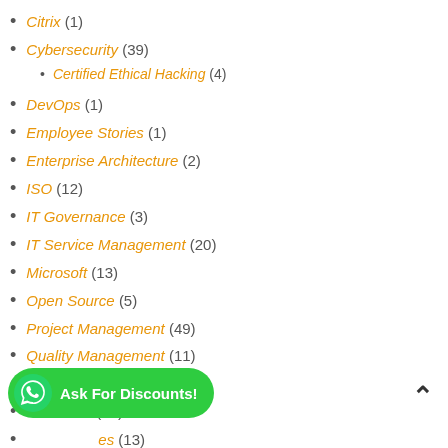Citrix (1)
Cybersecurity (39)
Certified Ethical Hacking (4)
DevOps (1)
Employee Stories (1)
Enterprise Architecture (2)
ISO (12)
IT Governance (3)
IT Service Management (20)
Microsoft (13)
Open Source (5)
Project Management (49)
Quality Management (11)
SAP (7)
Soft Skills (14)
...es (13)
VMware (3)